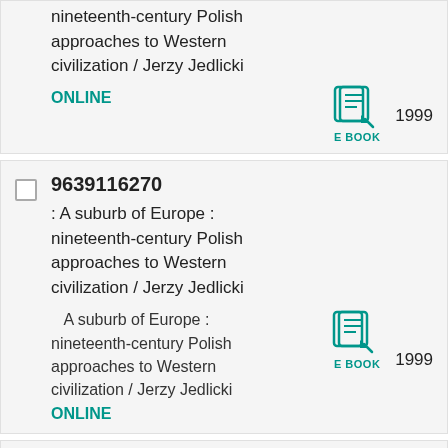nineteenth-century Polish approaches to Western civilization / Jerzy Jedlicki
ONLINE
1999
9639116270 : A suburb of Europe : nineteenth-century Polish approaches to Western civilization / Jerzy Jedlicki
A suburb of Europe : nineteenth-century Polish approaches to Western civilization / Jerzy Jedlicki
ONLINE 1999
9639116297 : Megbékélési kísérletek a